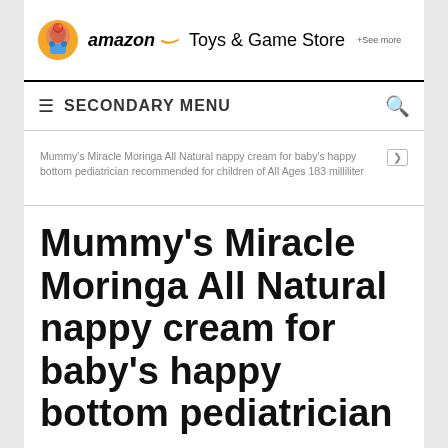amazon Toys & Game Store +See more
SECONDARY MENU
Mummy's Miracle Moringa All Natural nappy cream for baby's happy bottom pediatrician recommended for children of All Ages 183 milliliter
Mummy's Miracle Moringa All Natural nappy cream for baby's happy bottom pediatrician